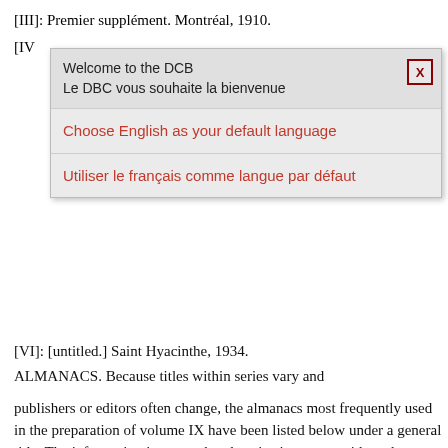[III]: Premier supplément. Montréal, 1910.
[IV ... (partially obscured by modal)
[Figure (screenshot): A modal dialog box with a close button (X). Header text reads 'Welcome to the DCB / Le DBC vous souhaite la bienvenue'. Two options below: 'Choose English as your default language' and 'Utiliser le français comme langue par défaut'.]
[VI]: [untitled.] Saint Hyacinthe, 1934.
ALMANACS. Because titles within series vary and
publishers or editors often change, the almanacs most frequently used in the preparation of volume IX have been listed below under a general title. The information in square brackets is given as a guide and may not be completely accurate.
Belcher's farmer's almanack . . . , [1824–1930] . Halifax. Edited by Clement Horton Belcher from 1824 to 1870 when it was taken over by the firm of McAlpine and Barnes; it was later issued by the McAlpine Publishing Company. The issues for 1824 to 1831 were